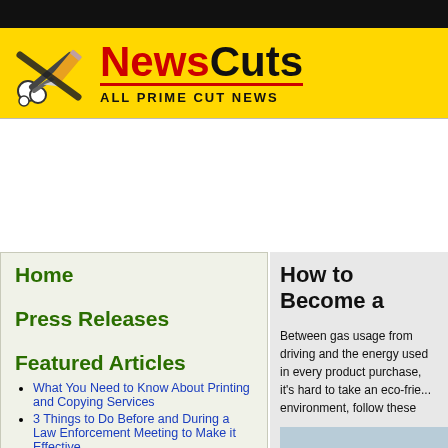NewsCuts - ALL PRIME CUT NEWS
Home
Press Releases
Featured Articles
What You Need to Know About Printing and Copying Services
3 Things to Do Before and During a Law Enforcement Meeting to Make it Effective
How to Become an Eco-Conscious Consumer
3 Car Parts To Recycle
The Top Benefits of CNC Machining
3 Kinds of Businesses That Use Telecommunications Equipment
All You Need To Know About Zinc
3 Common Printer Problems and What You Should Do...
How to Become a
Between gas usage from driving and the energy used in every product purchase, it's hard to take an eco-friendly stand. To become an eco-conscious consumer and help the environment, follow these
[Figure (photo): Yellow and blue recycling bins against a light blue wall background]